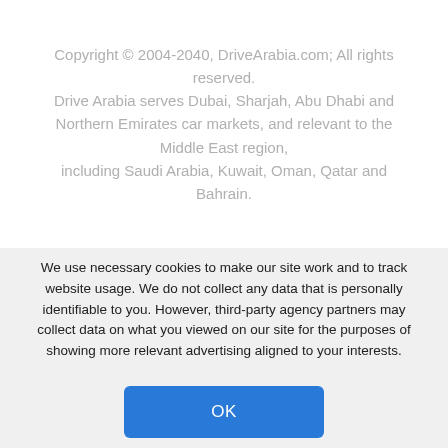Copyright © 2004-2040, DriveArabia.com; All rights reserved. Drive Arabia serves Dubai, Sharjah, Abu Dhabi and Northern Emirates car markets, and relevant to the Middle East region, including Saudi Arabia, Kuwait, Oman, Qatar and Bahrain.
We use necessary cookies to make our site work and to track website usage. We do not collect any data that is personally identifiable to you. However, third-party agency partners may collect data on what you viewed on our site for the purposes of showing more relevant advertising aligned to your interests.
OK